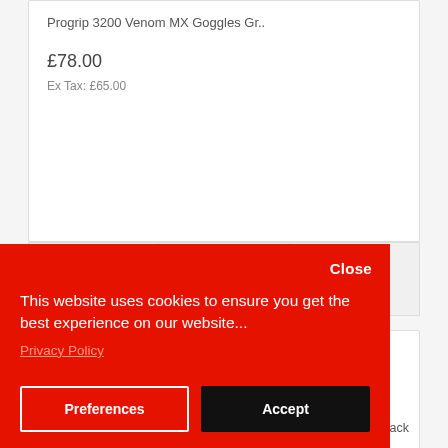Progrip 3200 Venom MX Goggles Gr..
£78.00
Ex Tax: £65.00
[Figure (screenshot): Cookie consent overlay with red background, Close button, privacy message, Preferences and Accept buttons]
Close
This website uses cookies to ensure you get the best experience on our website...
Privacy Policy
Preferences
Accept
s Black